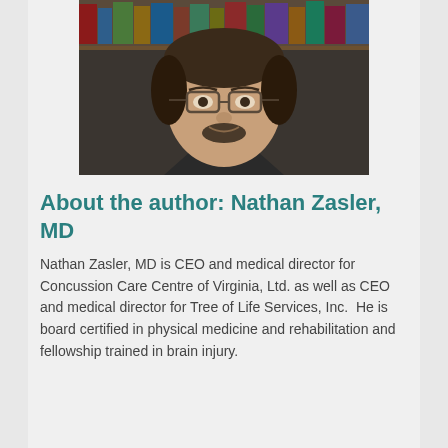[Figure (photo): Headshot photograph of Nathan Zasler, MD, a man with glasses, dark hair, and a goatee, wearing a dark jacket, with bookshelves visible in the background.]
About the author: Nathan Zasler, MD
Nathan Zasler, MD is CEO and medical director for Concussion Care Centre of Virginia, Ltd. as well as CEO and medical director for Tree of Life Services, Inc.  He is board certified in physical medicine and rehabilitation and fellowship trained in brain injury.